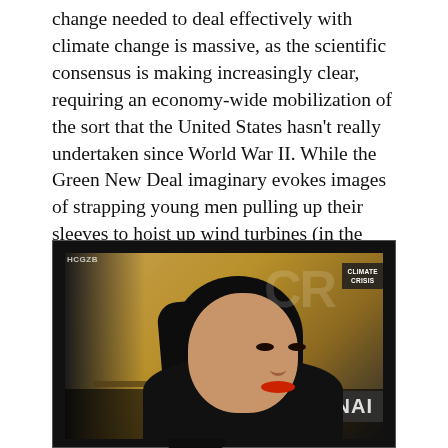change needed to deal effectively with climate change is massive, as the scientific consensus is making increasingly clear, requiring an economy-wide mobilization of the sort that the United States hasn't really undertaken since World War II. While the Green New Deal imaginary evokes images of strapping young men pulling up their sleeves to hoist up wind turbines (in the mold of realist Civilian Conservation Corps ads), its actual scope is far broader than the narrow set of activities typically housed under the green jobs umbrella, or even in the original New Deal.
[Figure (photo): A TV screenshot showing a woman with dark hair and red lipstick being interviewed. Behind her is a warm golden studio background. On the right side of the screen are large letters 'CR' and a box reading 'CLIMATE CRISIS'. At the bottom right is text reading 'NATIONAL'. The top left has small text 'HCGZB'.]